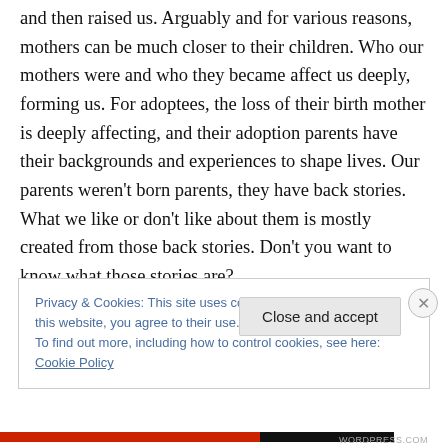and then raised us. Arguably and for various reasons, mothers can be much closer to their children. Who our mothers were and who they became affect us deeply, forming us. For adoptees, the loss of their birth mother is deeply affecting, and their adoption parents have their backgrounds and experiences to shape lives. Our parents weren't born parents, they have back stories. What we like or don't like about them is mostly created from those back stories. Don't you want to know what those stories are?
Privacy & Cookies: This site uses cookies. By continuing to use this website, you agree to their use. To find out more, including how to control cookies, see here: Cookie Policy
Close and accept